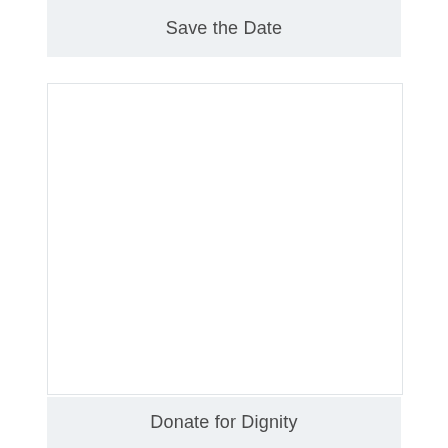Save the Date
[Figure (other): Empty white content area placeholder]
Donate for Dignity